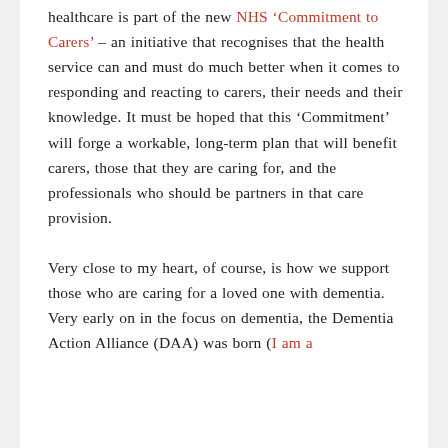healthcare is part of the new NHS 'Commitment to Carers' – an initiative that recognises that the health service can and must do much better when it comes to responding and reacting to carers, their needs and their knowledge. It must be hoped that this 'Commitment' will forge a workable, long-term plan that will benefit carers, those that they are caring for, and the professionals who should be partners in that care provision.

Very close to my heart, of course, is how we support those who are caring for a loved one with dementia. Very early on in the focus on dementia, the Dementia Action Alliance (DAA) was born (I am a